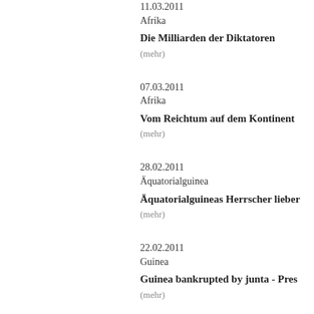11.03.2011
Afrika
Die Milliarden der Diktatoren
(mehr)
07.03.2011
Afrika
Vom Reichtum auf dem Kontinent
(mehr)
28.02.2011
Äquatorialguinea
Äquatorialguineas Herrscher lieben...
(mehr)
22.02.2011
Guinea
Guinea bankrupted by junta - Pres...
(mehr)